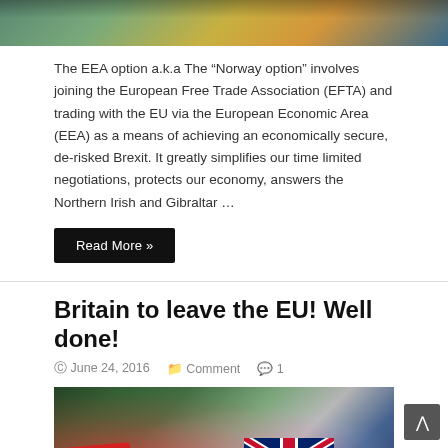[Figure (photo): Top portion of an image showing handshake or similar scene with green/gold tones, partially cropped]
The EEA option a.k.a The “Norway option” involves joining the European Free Trade Association (EFTA) and trading with the EU via the European Economic Area (EEA) as a means of achieving an economically secure, de-risked Brexit. It greatly simplifies our time limited negotiations, protects our economy, answers the Northern Irish and Gibraltar …
Read More »
Britain to leave the EU! Well done!
© June 24, 2016   📁 Comment   💬 1
[Figure (photo): Group of people celebrating Brexit result, one holding a red Vote Leave sign, another holding a Union Jack flag]